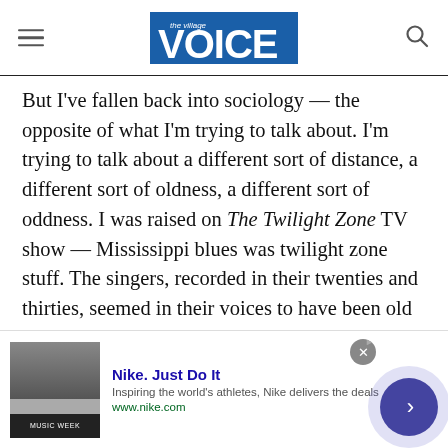The Village Voice
But I've fallen back into sociology — the opposite of what I'm trying to talk about. I'm trying to talk about a different sort of distance, a different sort of oldness, a different sort of oddness. I was raised on The Twilight Zone TV show — Mississippi blues was twilight zone stuff. The singers, recorded in their twenties and thirties, seemed in their voices to have been old before they were born. Robert Johnson was a ghost — out of a past I had never expected to confront, he was years ahead of me every time I
[Figure (screenshot): Nike advertisement banner at bottom of page with thumbnail image, Nike. Just Do It headline, description text 'Inspiring the world's athletes, Nike delivers the deals', URL www.nike.com, close button, and arrow navigation button]